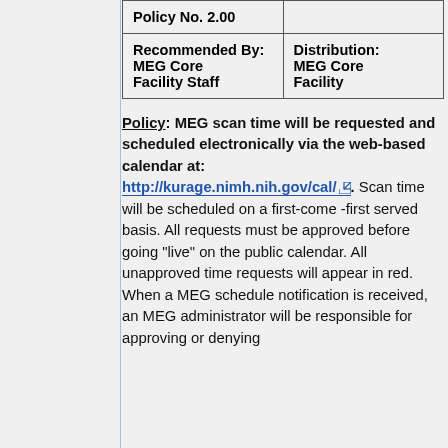| Policy No. 2.00 |  |
| Recommended By:
MEG Core Facility Staff | Distribution:
MEG Core Facility |
Policy: MEG scan time will be requested and scheduled electronically via the web-based calendar at: http://kurage.nimh.nih.gov/cal/. Scan time will be scheduled on a first-come -first served basis. All requests must be approved before going "live" on the public calendar. All unapproved time requests will appear in red. When a MEG schedule notification is received, an MEG administrator will be responsible for approving or denying